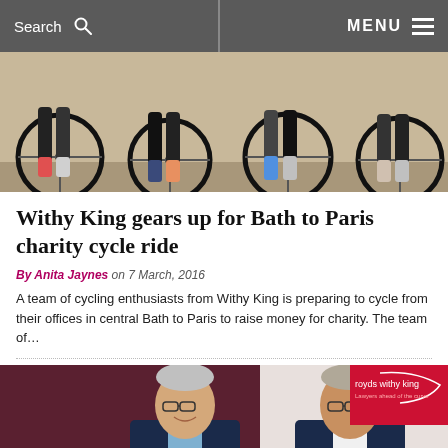Search  MENU
[Figure (photo): Close-up of bicycle wheels and riders' feet/legs standing on pavement at a cycling event]
Withy King gears up for Bath to Paris charity cycle ride
By Anita Jaynes on 7 March, 2016
A team of cycling enthusiasts from Withy King is preparing to cycle from their offices in central Bath to Paris to raise money for charity. The team of…
[Figure (photo): Two men in suits smiling, standing in front of a 'royds withy king' branded banner that reads 'Intelligent Pragma...' (partially visible)]